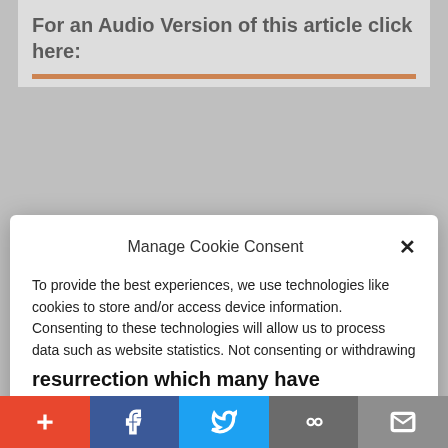For an Audio Version of this article click here:
[Figure (other): Orange audio progress bar]
Manage Cookie Consent
To provide the best experiences, we use technologies like cookies to store and/or access device information. Consenting to these technologies will allow us to process data such as website statistics. Not consenting or withdrawing consent, may adversely affect certain features and functions.
Accept
Cookie Policy  Privacy Policy
resurrection which many have attempted to discredit for centuries still stands, as